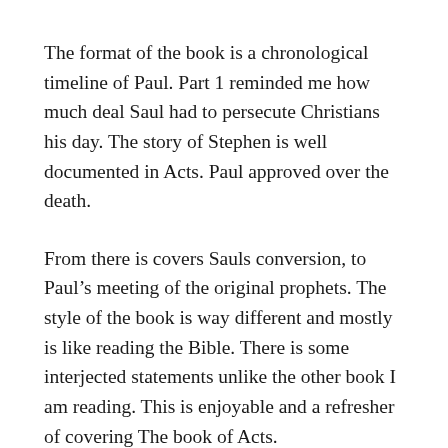The format of the book is a chronological timeline of Paul. Part 1 reminded me how much deal Saul had to persecute Christians his day. The story of Stephen is well documented in Acts. Paul approved over the death.
From there is covers Sauls conversion, to Paul’s meeting of the original prophets. The style of the book is way different and mostly is like reading the Bible. There is some interjected statements unlike the other book I am reading. This is enjoyable and a refresher of covering The book of Acts.
One of the things on my mind as I read through